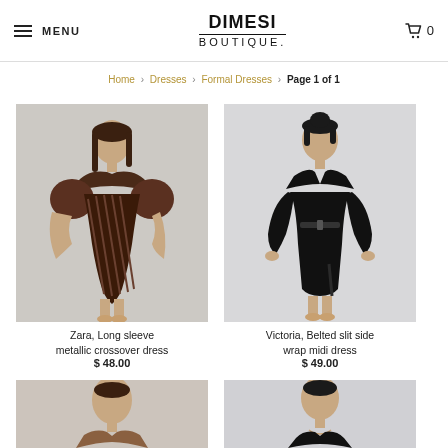MENU  DIMESI BOUTIQUE  0
Home > Dresses > Formal Dresses > Page 1 of 1
[Figure (photo): Model wearing a long sleeve metallic crossover short dress in dark brown/black]
Zara, Long sleeve metallic crossover dress
$ 48.00
[Figure (photo): Model wearing a black belted slit side wrap midi dress]
Victoria, Belted slit side wrap midi dress
$ 49.00
[Figure (photo): Partial view of third product - bottom cropped]
[Figure (photo): Partial view of fourth product - bottom cropped]